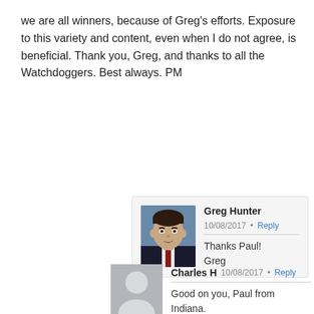we are all winners, because of Greg's efforts. Exposure to this variety and content, even when I do not agree, is beneficial. Thank you, Greg, and thanks to all the Watchdoggers. Best always. PM
Greg Hunter 10/08/2017 • Reply
Thanks Paul!
Greg
Charles H 10/08/2017 • Reply
Good on you, Paul from Indiana.
PAUL ANTHONY 10/08/2017 • Reply
This is the stuff Greg. Nailed it.

Let's see. Technical issues with audio. (Delay)